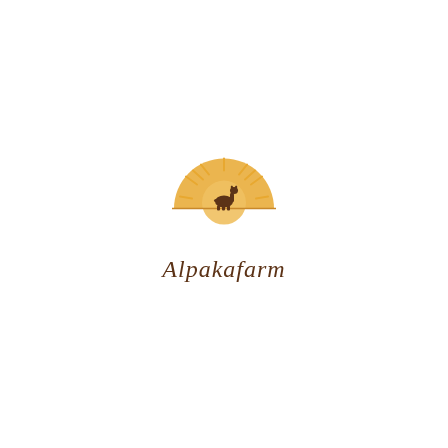[Figure (logo): Alpakafarm logo: a golden sun with rays above a half-circle horizon, with a small brown alpaca silhouette standing on the horizon line, and the handwritten text 'Alpakafarm' in brown below]